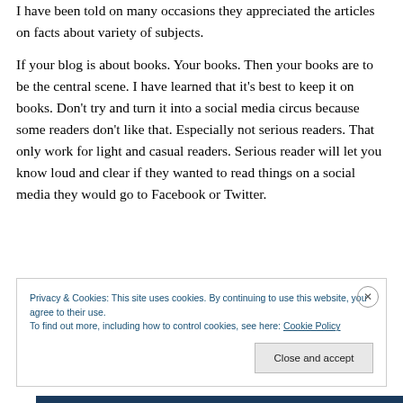I have been told on many occasions they appreciated the articles on facts about variety of subjects.
If your blog is about books. Your books. Then your books are to be the central scene. I have learned that it’s best to keep it on books. Don't try and turn it into a social media circus because some readers don’t like that. Especially not serious readers. That only work for light and casual readers. Serious reader will let you know loud and clear if they wanted to read things on a social media they would go to Facebook or Twitter.
Privacy & Cookies: This site uses cookies. By continuing to use this website, you agree to their use.
To find out more, including how to control cookies, see here: Cookie Policy